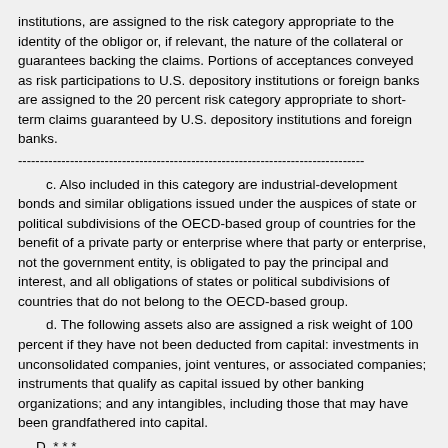institutions, are assigned to the risk category appropriate to the identity of the obligor or, if relevant, the nature of the collateral or guarantees backing the claims. Portions of acceptances conveyed as risk participations to U.S. depository institutions or foreign banks are assigned to the 20 percent risk category appropriate to short-term claims guaranteed by U.S. depository institutions and foreign banks.
--------------------------------------------------------------------------------
c. Also included in this category are industrial-development bonds and similar obligations issued under the auspices of state or political subdivisions of the OECD-based group of countries for the benefit of a private party or enterprise where that party or enterprise, not the government entity, is obligated to pay the principal and interest, and all obligations of states or political subdivisions of countries that do not belong to the OECD-based group.
d. The following assets also are assigned a risk weight of 100 percent if they have not been deducted from capital: investments in unconsolidated companies, joint ventures, or associated companies; instruments that qualify as capital issued by other banking organizations; and any intangibles, including those that may have been grandfathered into capital.
D. * * *